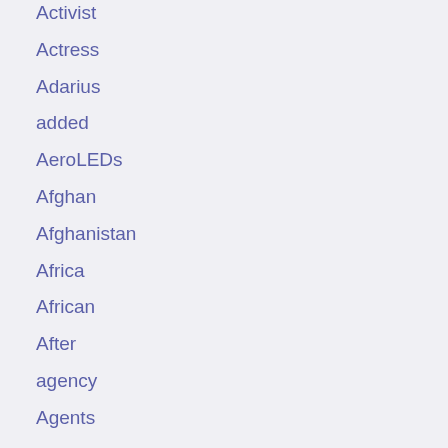Activist
Actress
Adarius
added
AeroLEDs
Afghan
Afghanistan
Africa
African
After
agency
Agents
Ahead